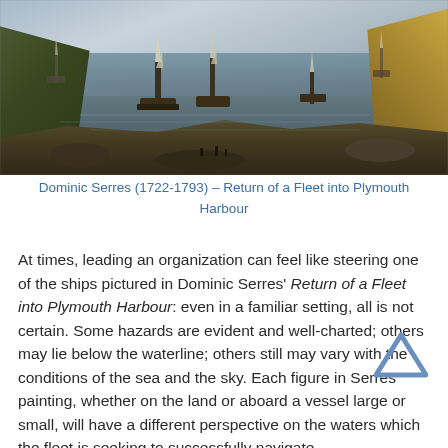[Figure (illustration): Painting of sailing ships in a harbour with cliffs on either side — Dominic Serres, Return of a Fleet into Plymouth Harbour]
Dominic Serres (1722-1793) – Return of a Fleet into Plymouth Harbour
At times, leading an organization can feel like steering one of the ships pictured in Dominic Serres' Return of a Fleet into Plymouth Harbour: even in a familiar setting, all is not certain. Some hazards are evident and well-charted; others may lie below the waterline; others still may vary with the conditions of the sea and the sky. Each figure in Serres' painting, whether on the land or aboard a vessel large or small, will have a different perspective on the waters which the fleet is seeking to successfully navigate.